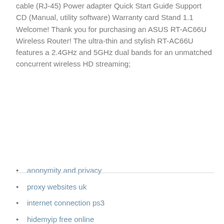cable (RJ-45) Power adapter Quick Start Guide Support CD (Manual, utility software) Warranty card Stand 1.1 Welcome! Thank you for purchasing an ASUS RT-AC66U Wireless Router! The ultra-thin and stylish RT-AC66U features a 2.4GHz and 5GHz dual bands for an unmatched concurrent wireless HD streaming;
anonymity and privacy
proxy websites uk
internet connection ps3
hidemyip free online
shellfire p2p
openvpn client static ip